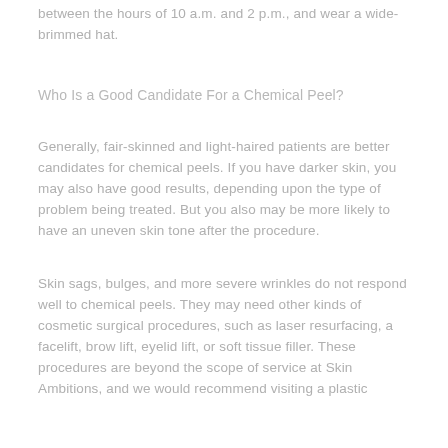between the hours of 10 a.m. and 2 p.m., and wear a wide-brimmed hat.
Who Is a Good Candidate For a Chemical Peel?
Generally, fair-skinned and light-haired patients are better candidates for chemical peels. If you have darker skin, you may also have good results, depending upon the type of problem being treated. But you also may be more likely to have an uneven skin tone after the procedure.
Skin sags, bulges, and more severe wrinkles do not respond well to chemical peels. They may need other kinds of cosmetic surgical procedures, such as laser resurfacing, a facelift, brow lift, eyelid lift, or soft tissue filler. These procedures are beyond the scope of service at Skin Ambitions, and we would recommend visiting a plastic